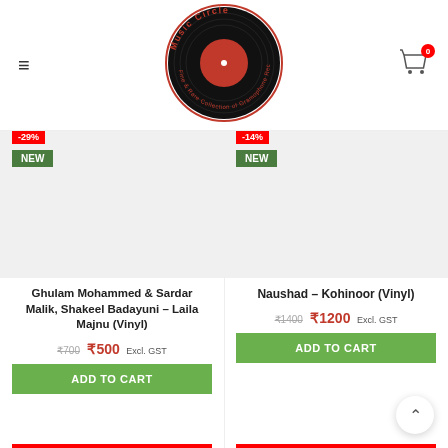Music Circle — Fine & Rare Collection of Gramophone Records
[Figure (logo): Music Circle logo: black vinyl record with red label center, red circular text reading 'Music Circle Fine & Rare Collection of Gramophone Records']
-29%
NEW
-14%
NEW
Ghulam Mohammed & Sardar Malik, Shakeel Badayuni – Laila Majnu (Vinyl)
₹700 ₹500 Excl. GST
ADD TO CART
Naushad – Kohinoor (Vinyl)
₹1400 ₹1200 Excl. GST
ADD TO CART